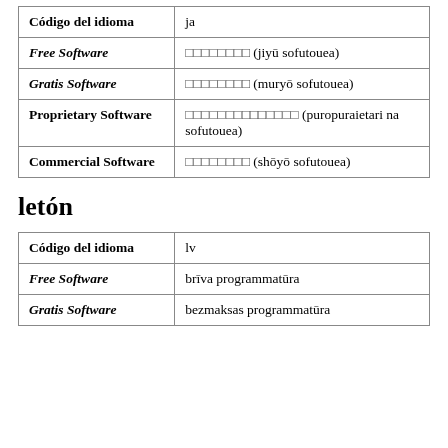| Código del idioma |  |
| --- | --- |
| Código del idioma | ja |
| Free Software | □□□□□□□□ (jiyū sofutouea) |
| Gratis Software | □□□□□□□□ (muryō sofutouea) |
| Proprietary Software | □□□□□□□□□□□□□□ (puropuraietari na sofutouea) |
| Commercial Software | □□□□□□□□ (shōyō sofutouea) |
letón
| Código del idioma |  |
| --- | --- |
| Código del idioma | lv |
| Free Software | brīva programmatūra |
| Gratis Software | bezmaksas programmatūra |